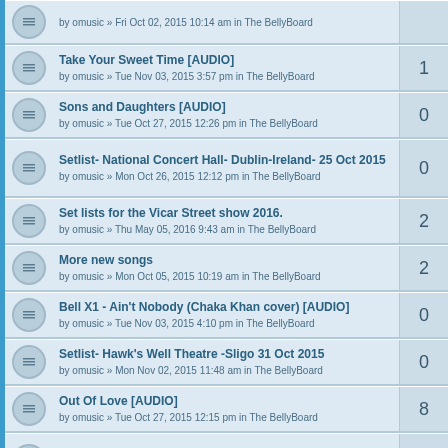by omusic » Fri Oct 02, 2015 10:14 am in The BellyBoard
Take Your Sweet Time [AUDIO]
by omusic » Tue Nov 03, 2015 3:57 pm in The BellyBoard
1
Sons and Daughters [AUDIO]
by omusic » Tue Oct 27, 2015 12:26 pm in The BellyBoard
0
Setlist- National Concert Hall- Dublin-Ireland- 25 Oct 2015
by omusic » Mon Oct 26, 2015 12:12 pm in The BellyBoard
0
Set lists for the Vicar Street show 2016.
by omusic » Thu May 05, 2016 9:43 am in The BellyBoard
2
More new songs
by omusic » Mon Oct 05, 2015 10:19 am in The BellyBoard
2
Bell X1 - Ain't Nobody (Chaka Khan cover) [AUDIO]
by omusic » Tue Nov 03, 2015 4:10 pm in The BellyBoard
0
Setlist- Hawk's Well Theatre -Sligo 31 Oct 2015
by omusic » Mon Nov 02, 2015 11:48 am in The BellyBoard
0
Out Of Love [AUDIO]
by omusic » Tue Oct 27, 2015 12:15 pm in The BellyBoard
8
Bell X1 setlist- Knocknarea Arena - Sligo 24th Oct 2014
by omusic » Mon Oct 27, 2014 10:12 pm in The BellyBoard
0
Setlist - Iveagh Gardens - Dublin- 08 Jul 2016,
by omusic » Sun Jul 10, 2016 11:34 am in The BellyBoard
0
New songs